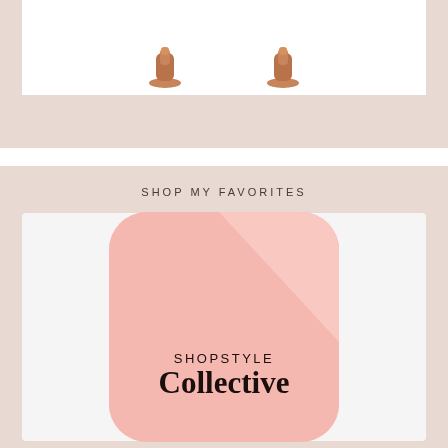[Figure (illustration): Partial view of two brown shoe icons at the bottom of a white image box on a pink/beige background]
SHOP MY FAVORITES
[Figure (logo): ShopStyle Collective logo — rounded pink square with diagonal lighter pink stripe, text 'SHOPSTYLE' in small caps above large serif 'Collective']